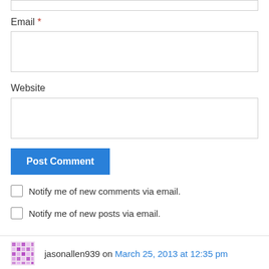Email *
Website
Post Comment
Notify me of new comments via email.
Notify me of new posts via email.
jasonallen939 on March 25, 2013 at 12:35 pm